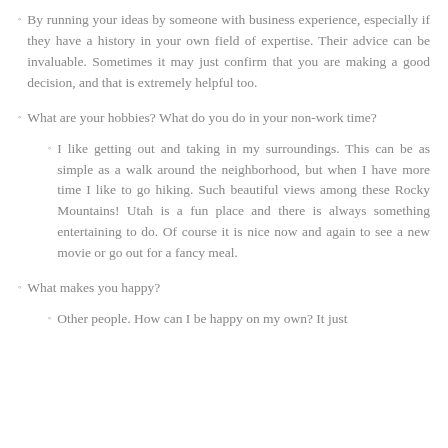By running your ideas by someone with business experience, especially if they have a history in your own field of expertise. Their advice can be invaluable. Sometimes it may just confirm that you are making a good decision, and that is extremely helpful too.
What are your hobbies? What do you do in your non-work time?
I like getting out and taking in my surroundings. This can be as simple as a walk around the neighborhood, but when I have more time I like to go hiking. Such beautiful views among these Rocky Mountains! Utah is a fun place and there is always something entertaining to do. Of course it is nice now and again to see a new movie or go out for a fancy meal.
What makes you happy?
Other people. How can I be happy on my own? It just